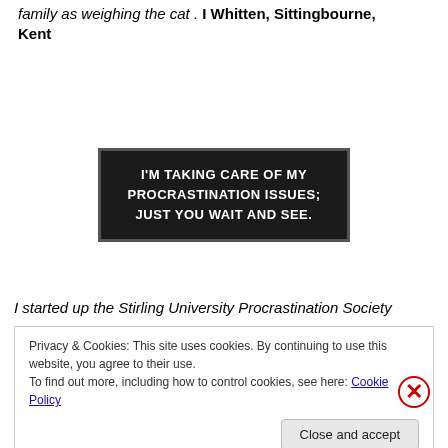family as weighing the cat . I Whitten, Sittingbourne, Kent
[Figure (photo): Black rectangular sign with white bold text reading: I'M TAKING CARE OF MY PROCRASTINATION ISSUES; JUST YOU WAIT AND SEE.]
I started up the Stirling University Procrastination Society
Privacy & Cookies: This site uses cookies. By continuing to use this website, you agree to their use. To find out more, including how to control cookies, see here: Cookie Policy
Close and accept